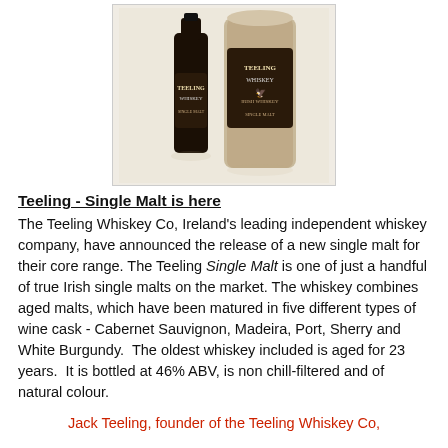[Figure (photo): Teeling Whiskey Single Malt bottle next to its cylindrical gift tube/box, both featuring the Teeling Whiskey label with eagle logo]
Teeling - Single Malt is here
The Teeling Whiskey Co, Ireland's leading independent whiskey company, have announced the release of a new single malt for their core range. The Teeling Single Malt is one of just a handful of true Irish single malts on the market. The whiskey combines aged malts, which have been matured in five different types of wine cask - Cabernet Sauvignon, Madeira, Port, Sherry and White Burgundy.  The oldest whiskey included is aged for 23 years.  It is bottled at 46% ABV, is non chill-filtered and of natural colour.
Jack Teeling, founder of the Teeling Whiskey Co,